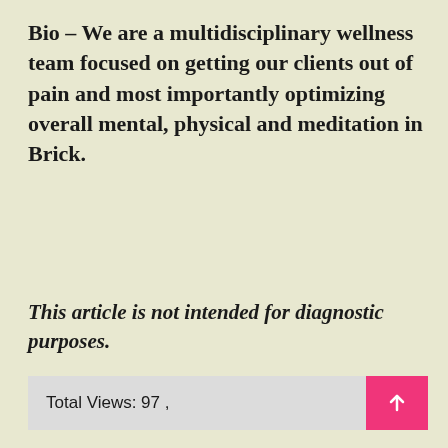Bio – We are a multidisciplinary wellness team focused on getting our clients out of pain and most importantly optimizing overall mental, physical and meditation in Brick.
This article is not intended for diagnostic purposes.
Total Views: 97 ,